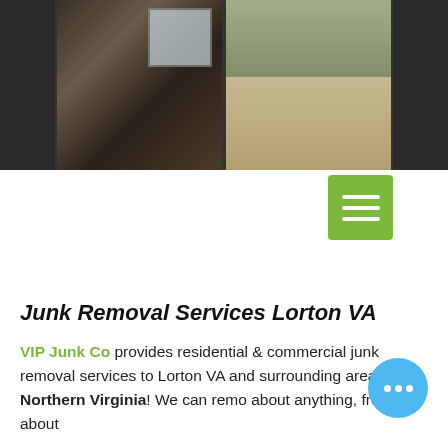[Figure (photo): Photo strip showing two images of junk/furniture items: left photo shows dark furniture/items in a room with a window, right photo shows beige/tan recliner chairs with trees visible in background. Dark panels flank the sides.]
[Figure (screenshot): Green hamburger menu button with three white horizontal bars on a light green square background.]
Junk Removal Services Lorton VA
VIP Junk Co provides residential & commercial junk removal services to Lorton VA and surrounding areas in Northern Virginia! We can remove about anything, from just about